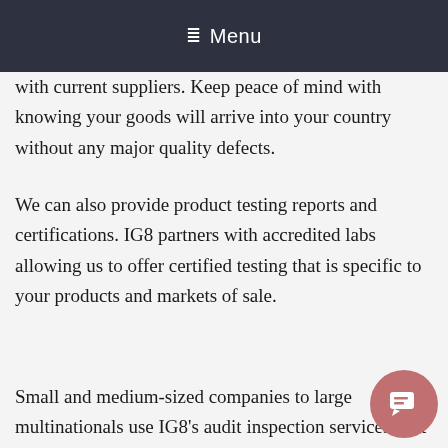≡ Menu
with current suppliers. Keep peace of mind with knowing your goods will arrive into your country without any major quality defects.
We can also provide product testing reports and certifications. IG8 partners with accredited labs allowing us to offer certified testing that is specific to your products and markets of sale.
Small and medium-sized companies to large multinationals use IG8's audit inspection services as it allows them to minimize losses due to defective products and ensures that